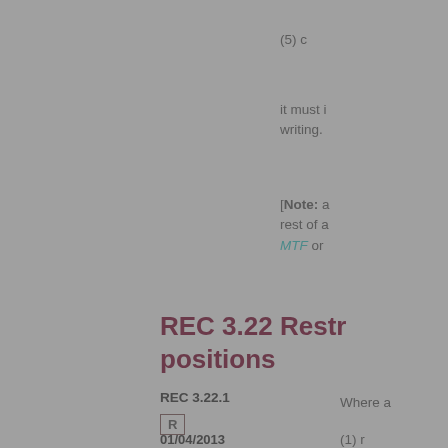(5) c
it must i writing.
[Note: a rest of a MTF or
REC 3.22 Restr positions
REC 3.22.1
Where a
(1) r
(2) is
that UK the natu RIE